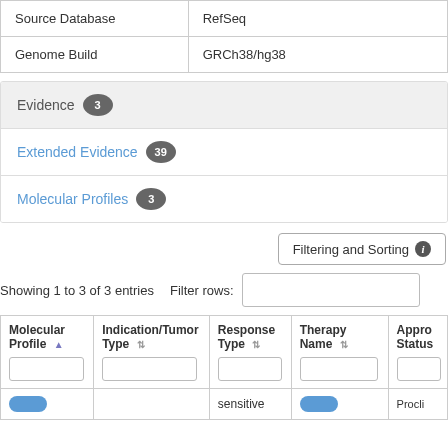|  |  |
| --- | --- |
| Source Database | RefSeq |
| Genome Build | GRCh38/hg38 |
| Evidence | 3 |
| Extended Evidence | 39 |
| Molecular Profiles | 3 |
Filtering and Sorting
Showing 1 to 3 of 3 entries  Filter rows:
| Molecular Profile | Indication/Tumor Type | Response Type | Therapy Name | Appro Status |
| --- | --- | --- | --- | --- |
| [blue pill] |  | sensitive | [blue pill] | Procli... |